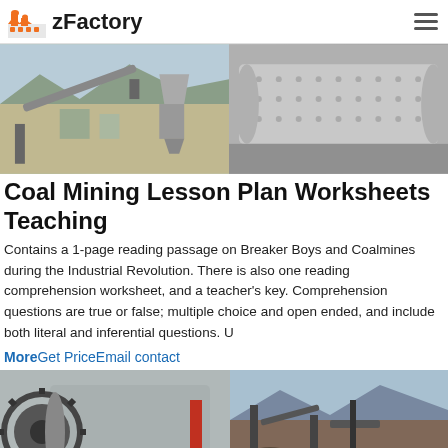zFactory
[Figure (photo): Banner with two industrial/mining facility photos side by side: left shows a conveyor belt and aggregate processing plant, right shows a large cylindrical industrial machine (ball mill or rotary kiln)]
Coal Mining Lesson Plan Worksheets Teaching
Contains a 1-page reading passage on Breaker Boys and Coalmines during the Industrial Revolution. There is also one reading comprehension worksheet, and a teacher's key. Comprehension questions are true or false; multiple choice and open ended, and include both literal and inferential questions. U
MoreGet PriceEmail contact
[Figure (photo): Two industrial photos side by side: left shows a large ball mill with gear mechanism in a red industrial setting, right shows mining equipment and machinery on a rocky terrain]